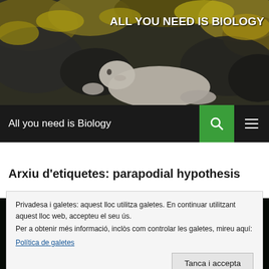[Figure (photo): Hero banner showing a grey seal resting on rocky shore covered with yellow-green moss. Text overlay reads ALL YOU NEED IS BIOLOGY.]
ALL YOU NEED IS BIOLOGY
All you need is Biology
Arxiu d'etiquetes: parapodial hypothesis
[Figure (photo): Dark image showing iridescent green worm or marine creature against black background.]
Privadesa i galetes: aquest lloc utilitza galetes. En continuar utilitzant aquest lloc web, accepteu el seu ús.
Per a obtenir més informació, inclòs com controlar les galetes, mireu aquí:
Política de galetes
Tanca i accepta